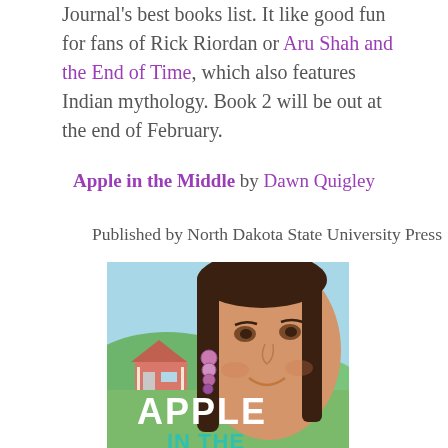Journal's best books list. It like good fun for fans of Rick Riordan or Aru Shah and the End of Time, which also features Indian mythology. Book 2 will be out at the end of February.
Apple in the Middle by Dawn Quigley
Published by North Dakota State University Press
[Figure (illustration): Book cover of 'Apple in the Middle' showing an illustrated young Native American girl with long dark hair, a beaded earring, and a warm smile. A pink house and green landscape appear in the background. The title 'APPLE IN THE' is visible in large white and teal letters at the bottom.]